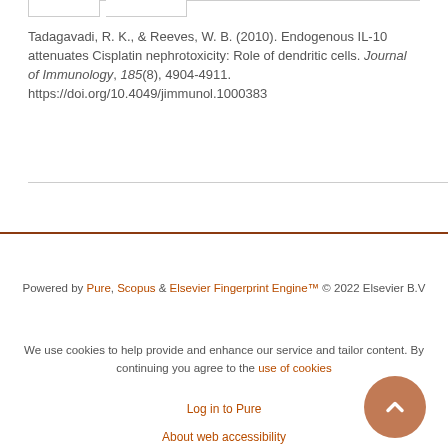Tadagavadi, R. K., & Reeves, W. B. (2010). Endogenous IL-10 attenuates Cisplatin nephrotoxicity: Role of dendritic cells. Journal of Immunology, 185(8), 4904-4911. https://doi.org/10.4049/jimmunol.1000383
Powered by Pure, Scopus & Elsevier Fingerprint Engine™ © 2022 Elsevier B.V
We use cookies to help provide and enhance our service and tailor content. By continuing you agree to the use of cookies
Log in to Pure
About web accessibility